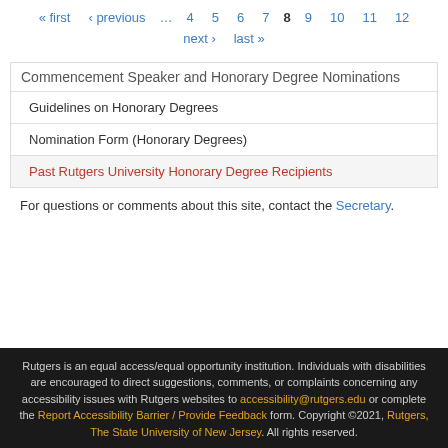« first ‹ previous … 4 5 6 7 8 9 10 11 12 next › last »
Commencement Speaker and Honorary Degree Nominations
Guidelines on Honorary Degrees
Nomination Form (Honorary Degrees)
Past Rutgers University Honorary Degree Recipients
For questions or comments about this site, contact the Secretary.
Rutgers is an equal access/equal opportunity institution. Individuals with disabilities are encouraged to direct suggestions, comments, or complaints concerning any accessibility issues with Rutgers websites to accessibility@rutgers.edu or complete the Report Accessibility Barrier / Provide Feedback form. Copyright ©2021, Rutgers, The State University of New Jersey. All rights reserved.